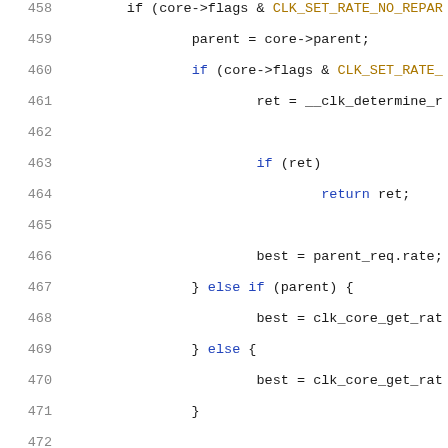[Figure (screenshot): Source code listing showing C code lines 458-479. Line numbers in gray on the left, code syntax highlighted with keywords in blue, comments in red/orange, macros in yellow-brown. White background. Code involves clock rate functions, parent clock traversal, and goto statements.]